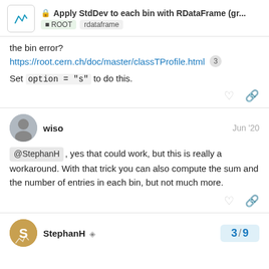Apply StdDev to each bin with RDataFrame (gr... | ROOT rdataframe
the bin error?
https://root.cern.ch/doc/master/classTProfile.html 3
Set option = "s" to do this.
wiso  Jun '20
@StephanH , yes that could work, but this is really a workaround. With that trick you can also compute the sum and the number of entries in each bin, but not much more.
StephanH